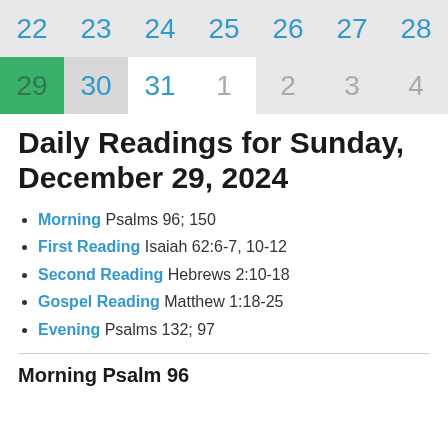[Figure (other): Calendar widget showing dates 22-28 in top row and 29-31, 1-4 in second row, with 29 highlighted in green]
Daily Readings for Sunday, December 29, 2024
Morning Psalms 96; 150
First Reading Isaiah 62:6-7, 10-12
Second Reading Hebrews 2:10-18
Gospel Reading Matthew 1:18-25
Evening Psalms 132; 97
Morning Psalm 96